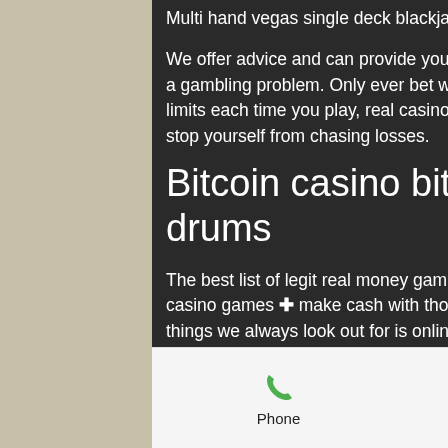Multi hand vegas single deck blackjack, real casino play online.
We offer advice and can provide you with resources and other information if you think you have a gambling problem. Only ever bet with what you'd be comfortable losing and make sure to set limits each time you play, real casino play online. It's important not to exceed these limits and to stop yourself from chasing losses.
Bitcoin casino bitcoin slot machine dancing drums
The best list of legit real money gambling sites in sa ► let's gamble ▷ win in 1000+ online casino games ✚ make cash with thousands of. Online casino games variety – one of the first things we always look out for is online casino game variety. We wanted to
Phone   Email   Facebook